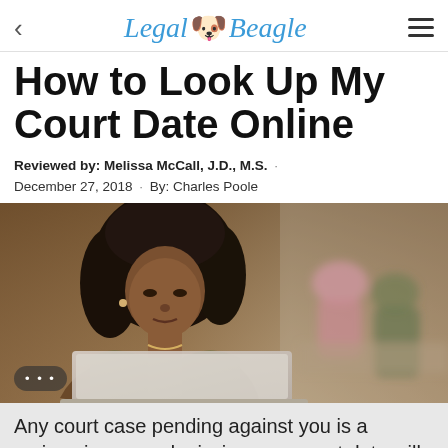Legal Beagle
How to Look Up My Court Date Online
Reviewed by: Melissa McCall, J.D., M.S. · December 27, 2018 · By: Charles Poole
[Figure (photo): A woman with curly hair looking down at a laptop computer, with blurred background showing other people at tables.]
Any court case pending against you is a serious issue, and missing your court date will only add to your troubles, because you are in the face of a...